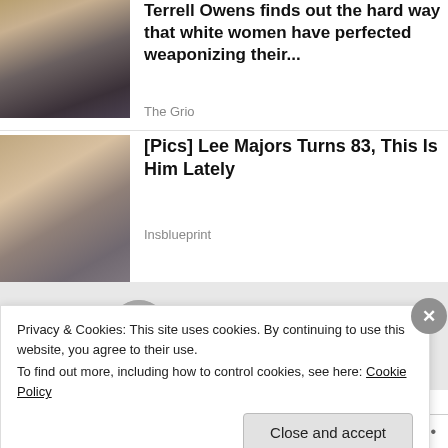[Figure (photo): Thumbnail photo of a man wearing sunglasses]
Terrell Owens finds out the hard way that white women have perfected weaponizing their...
The Grio
[Figure (photo): Thumbnail photo of a man and woman together]
[Pics] Lee Majors Turns 83, This Is Him Lately
Insblueprint
[Figure (photo): Partial thumbnail of a third article, partially obscured by cookie banner]
Privacy & Cookies: This site uses cookies. By continuing to use this website, you agree to their use.
To find out more, including how to control cookies, see here: Cookie Policy
Close and accept
Follow ...